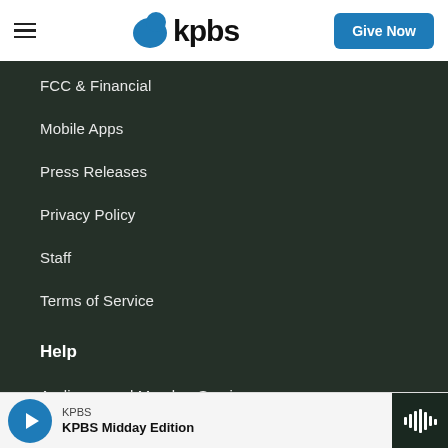KPBS | Give Now
FCC & Financial
Mobile Apps
Press Releases
Privacy Policy
Staff
Terms of Service
Help
Audience and Member Services
Closed Captioning
KPBS | KPBS Midday Edition